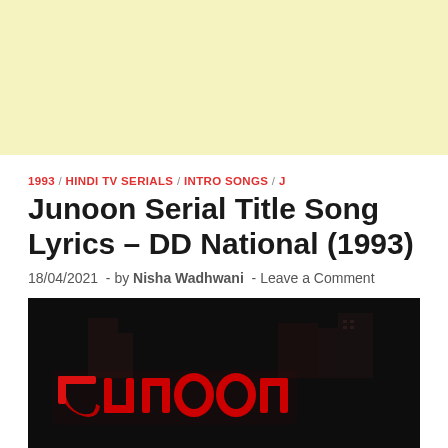[Figure (other): Yellow/cream colored advertisement banner area at the top of the page]
1993 / HINDI TV SERIALS / INTRO SONGS / J
Junoon Serial Title Song Lyrics – DD National (1993)
18/04/2021  -  by Nisha Wadhwani  -  Leave a Comment
[Figure (photo): Dark night scene with glowing red neon Hindi/Urdu style letters spelling 'Junoon' against a dark background with some building structures visible]